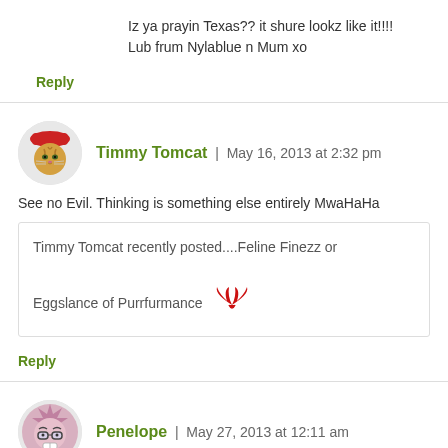Iz ya prayin Texas?? it shure lookz like it!!!! Lub frum Nylablue n Mum xo
Reply
Timmy Tomcat | May 16, 2013 at 2:32 pm
See no Evil. Thinking is something else entirely MwaHaHa
Timmy Tomcat recently posted....Feline Finezz or Eggslance of Purrfurmance
Reply
Penelope | May 27, 2013 at 12:11 am